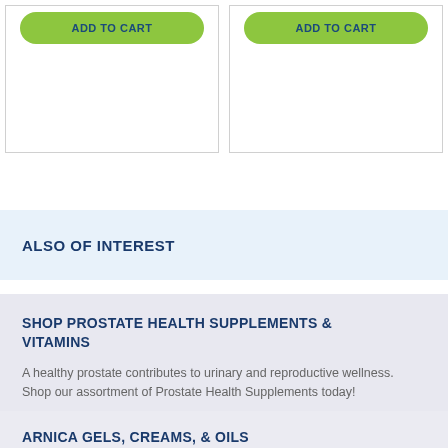[Figure (screenshot): Two product cards each with a green 'ADD TO CART' button]
ALSO OF INTEREST
SHOP PROSTATE HEALTH SUPPLEMENTS & VITAMINS
A healthy prostate contributes to urinary and reproductive wellness. Shop our assortment of Prostate Health Supplements today!
ARNICA GELS, CREAMS, & OILS
Arnica is a homeopathic ingredient traditionally used for overall